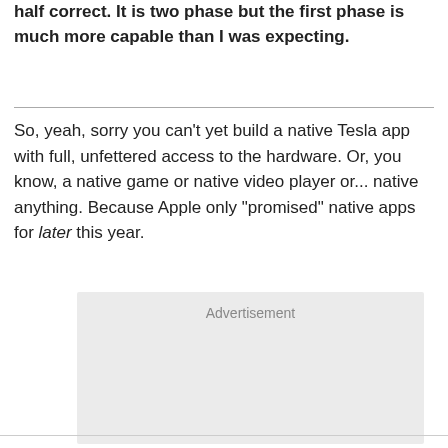half correct. It is two phase but the first phase is much more capable than I was expecting.
So, yeah, sorry you can't yet build a native Tesla app with full, unfettered access to the hardware. Or, you know, a native game or native video player or... native anything. Because Apple only "promised" native apps for later this year.
[Figure (other): Advertisement placeholder box with light gray background]